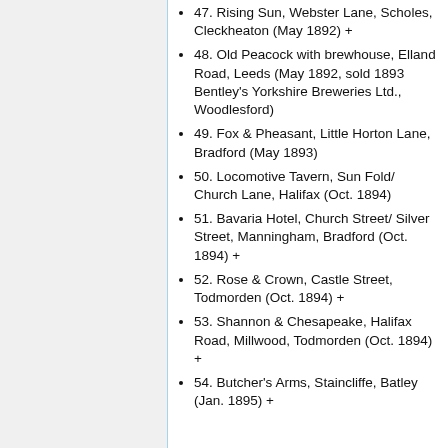47. Rising Sun, Webster Lane, Scholes, Cleckheaton (May 1892) +
48. Old Peacock with brewhouse, Elland Road, Leeds (May 1892, sold 1893 Bentley's Yorkshire Breweries Ltd., Woodlesford)
49. Fox & Pheasant, Little Horton Lane, Bradford (May 1893)
50. Locomotive Tavern, Sun Fold/ Church Lane, Halifax (Oct. 1894)
51. Bavaria Hotel, Church Street/ Silver Street, Manningham, Bradford (Oct. 1894) +
52. Rose & Crown, Castle Street, Todmorden (Oct. 1894) +
53. Shannon & Chesapeake, Halifax Road, Millwood, Todmorden (Oct. 1894) +
54. Butcher's Arms, Staincliffe, Batley (Jan. 1895) +